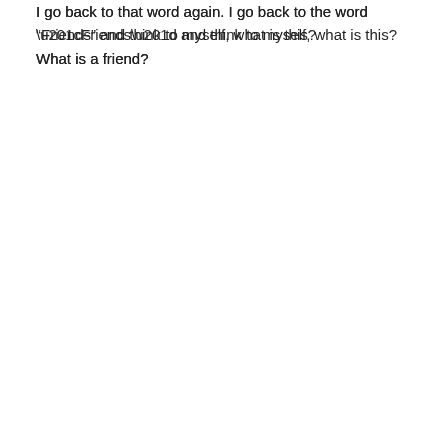I go back to that word again. I go back to the word “Friends” and think to myself, what is this? What is a friend?
What is friendship?
What is the relationship between others and me?
Is this friendship?
Is everyone that says they’re a friend, really a friend, or is this just a contract, or is friendship nothing more than a social construct, or a notion based upon a semi-emotional agreement, or is it an idea, or better yet, is this just an invention between people?
At a young age, we learn that friends are not always friendly. They’re not always loyal either. Bad people do